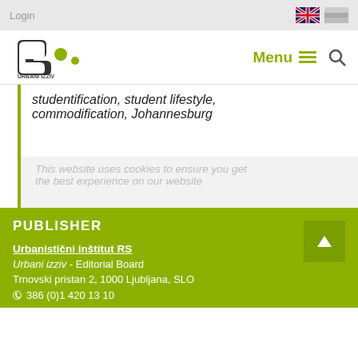Login
[Figure (logo): Urbani izziv Publikacije logo with stylized C and green dots, plus Menu and search icons]
studentification, student lifestyle, commodification, Johannesburg
This website uses cookies to ensure you get the best experience on our website
PUBLISHER
Urbanistični inštitut RS
Urbani izziv - Editorial Board
Trnovski pristan 2, 1000 Ljubljana, SLO
386 (0)1 420 13 10